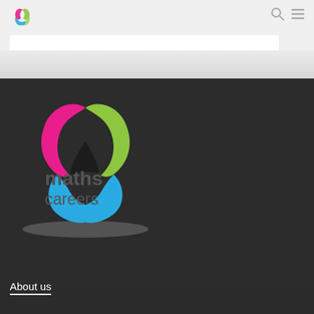[Figure (logo): Maths Careers logo: a triangular interlocking ribbon shape in pink, green, and blue colors, with text 'maths careers' below it, on a dark background]
About us